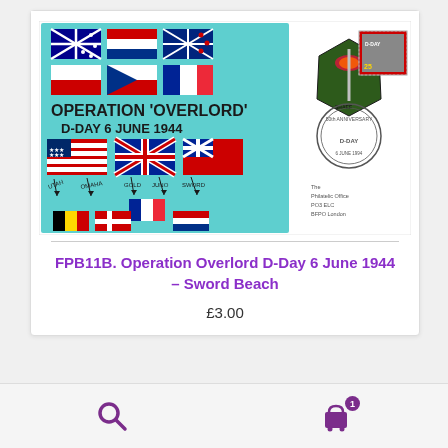[Figure (illustration): First day cover envelope featuring Operation Overlord D-Day 6 June 1944. Left side shows a teal/cyan illustrated panel with allied nation flags (Australia, Netherlands/Croatia, New Zealand, Poland, Czechoslovakia, France, USA, UK, Bermuda), D-Day beach landing arrows pointing to Utah, Omaha, Gold, Juno, Sword beaches, and flags of France, Belgium, Denmark, Netherlands, Luxembourg, Greece, Norway, Poland. Centre has a SHAEF shoulder patch badge. Right side is plain white with a postage stamp (25p D-Day), circular commemorative postmark, and address text reading 'The Philatelic Office, PO3 ELC, BFPO London'.]
FPB11B. Operation Overlord D-Day 6 June 1944 – Sword Beach
£3.00